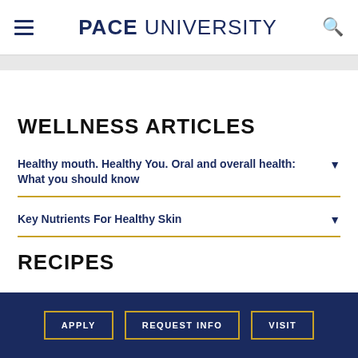PACE UNIVERSITY
WELLNESS ARTICLES
Healthy mouth. Healthy You. Oral and overall health: What you should know
Key Nutrients For Healthy Skin
RECIPES
APPLY   REQUEST INFO   VISIT